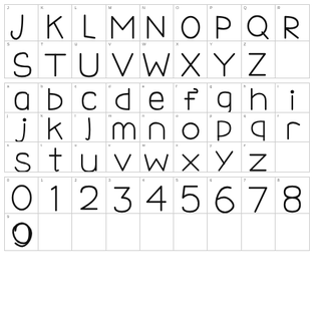[Figure (illustration): Handwritten uppercase letters J through R in first row (J K L M N O P Q R), then S through Z in second row (S T U V W X Y Z), displayed in a grid with printed letter labels in top-left of each cell]
[Figure (illustration): Handwritten lowercase letters a through i in first row, j through r in second row, s through z in third row, displayed in a grid with printed letter labels]
[Figure (illustration): Handwritten digits 0 through 8 in first row, then digit 9 alone in second row, displayed in a grid with printed digit labels]